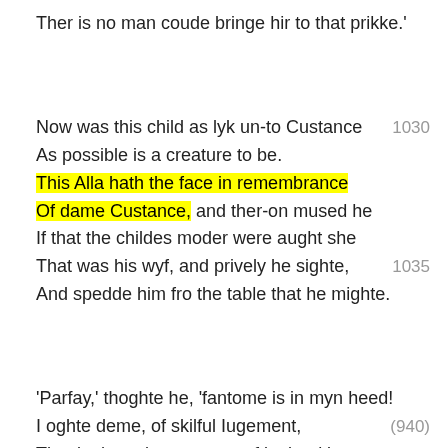Ther is no man coude bringe hir to that prikke.'
Now was this child as lyk un-to Custance 1030
As possible is a creature to be.
This Alla hath the face in remembrance
Of dame Custance, and ther-on mused he
If that the childes moder were aught she
That was his wyf, and prively he sighte, 1035
And spedde him fro the table that he mighte.
'Parfay,' thoghte he, 'fantome is in myn heed!
I oghte deme, of skilful Iugement, (940)
That in the salte see my wyf is deed.'
And afterward he made his argument— 1040